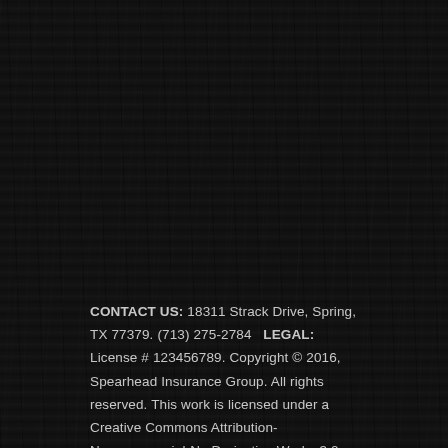CONTACT US: 18311 Strack Drive, Spring, TX 77379. (713) 275-2784   LEGAL: License # 123456789. Copyright © 2016, Spearhead Insurance Group. All rights reserved. This work is licensed under a Creative Commons Attribution-Noncommercial-No Derivative Works 3.0 Unported License.   Powered by Awesurance